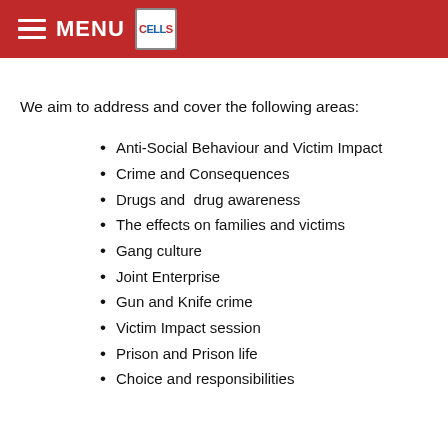MENU [CELLS logo]
We aim to address and cover the following areas:
Anti-Social Behaviour and Victim Impact
Crime and Consequences
Drugs and  drug awareness
The effects on families and victims
Gang culture
Joint Enterprise
Gun and Knife crime
Victim Impact session
Prison and Prison life
Choice and responsibilities